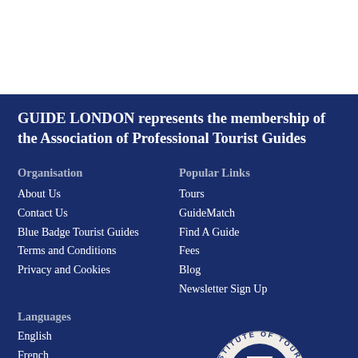GUIDE LONDON represents the membership of the Association of Professional Tourist Guides
Organisation
About Us
Contact Us
Blue Badge Tourist Guides
Terms and Conditions
Privacy and Cookies
Popular Links
Tours
GuideMatch
Find A Guide
Fees
Blog
Newsletter Sign Up
Languages
English
French
German
Italian
[Figure (logo): Institute of Tourist Guiding London circular logo with tower bridge graphic and 'TOURIST' text at bottom]